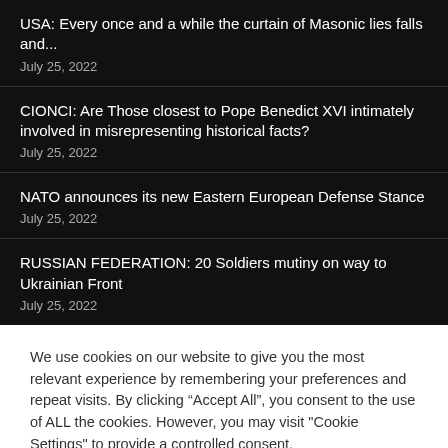USA: Every once and a while the curtain of Masonic lies falls and...
July 25, 2022
CIONCI: Are Those closest to Pope Benedict XVI intimately involved in misrepresenting historical facts?
July 25, 2022
NATO announces its new Eastern European Defense Stance
July 25, 2022
RUSSIAN FEDERATION: 20 Soldiers mutiny on way to Ukrainian Front
July 25, 2022
We use cookies on our website to give you the most relevant experience by remembering your preferences and repeat visits. By clicking “Accept All”, you consent to the use of ALL the cookies. However, you may visit "Cookie Settings" to provide a controlled consent.